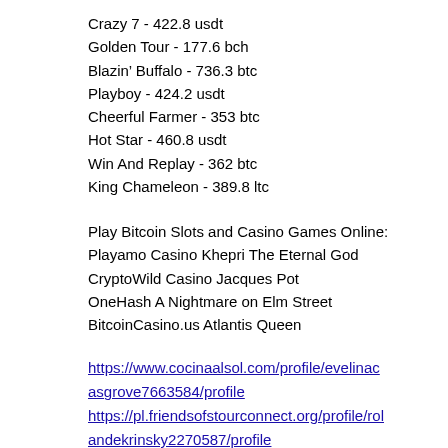Crazy 7 - 422.8 usdt
Golden Tour - 177.6 bch
Blazin’ Buffalo - 736.3 btc
Playboy - 424.2 usdt
Cheerful Farmer - 353 btc
Hot Star - 460.8 usdt
Win And Replay - 362 btc
King Chameleon - 389.8 ltc
Play Bitcoin Slots and Casino Games Online:
Playamo Casino Khepri The Eternal God
CryptoWild Casino Jacques Pot
OneHash A Nightmare on Elm Street
BitcoinCasino.us Atlantis Queen
https://www.cocinaalsol.com/profile/evelinacasgrove7663584/profile
https://pl.friendsofstourconnect.org/profile/rolandekrinsky2270587/profile